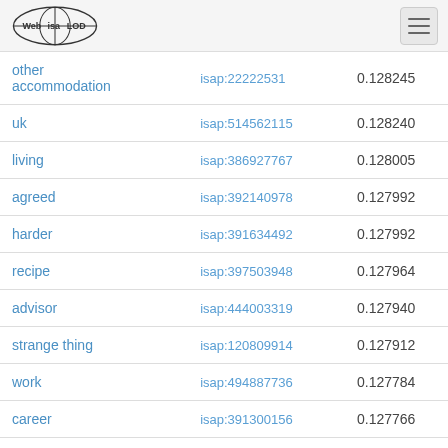Web isa LOD
| term | isap id | score |
| --- | --- | --- |
| other accommodation | isap:22222531 | 0.128245 |
| uk | isap:514562115 | 0.128240 |
| living | isap:386927767 | 0.128005 |
| agreed | isap:392140978 | 0.127992 |
| harder | isap:391634492 | 0.127992 |
| recipe | isap:397503948 | 0.127964 |
| advisor | isap:444003319 | 0.127940 |
| strange thing | isap:120809914 | 0.127912 |
| work | isap:494887736 | 0.127784 |
| career | isap:391300156 | 0.127766 |
| blog | isap:496531786 | 0.127659 |